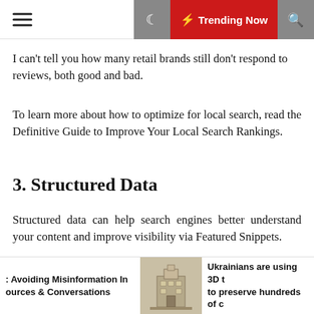☰  ☾  ⚡ Trending Now  🔍
I can't tell you how many retail brands still don't respond to reviews, both good and bad.
To learn more about how to optimize for local search, read the Definitive Guide to Improve Your Local Search Rankings.
3. Structured Data
Structured data can help search engines better understand your content and improve visibility via Featured Snippets.
For retail brands, the most important structured data type is product schema.
Avoiding Misinformation In ources & Conversations    Ukrainians are using 3D t to preserve hundreds of c